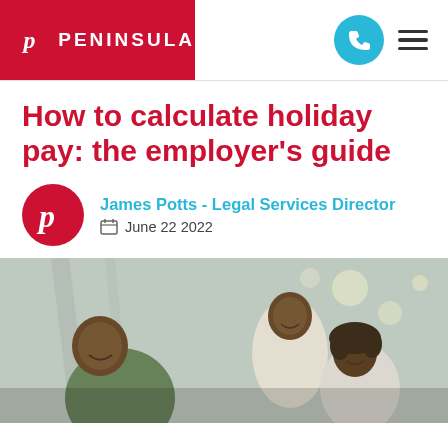[Figure (logo): Peninsula logo — red rectangle with white P icon and white PENINSULA text]
[Figure (other): Phone icon in teal circle and hamburger menu icon]
How to calculate holiday pay: the employer's guide
James Potts - Legal Services Director
June 22 2022
[Figure (photo): Photo of a man leaning down smiling at a child, with a woman smiling in the background, in an indoor setting]